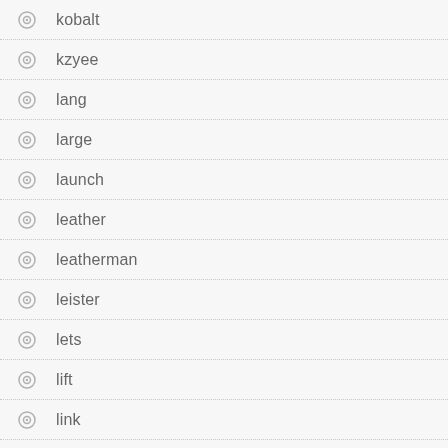kobalt
kzyee
lang
large
launch
leather
leatherman
leister
lets
lift
link